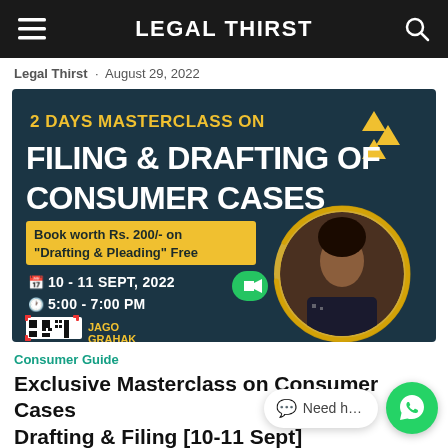LEGAL THIRST
Legal Thirst · August 29, 2022
[Figure (infographic): Promotional banner for '2 Days Masterclass on Filing & Drafting of Consumer Cases'. Dark teal background. Yellow heading '2 DAYS MASTERCLASS ON', white large heading 'FILING & DRAFTING OF CONSUMER CASES', yellow callout box 'Book worth Rs. 200/- on "Drafting & Pleading" Free', calendar icon with '10 - 11 SEPT, 2022', clock icon '5:00 - 7:00 PM', Zoom icon (green camera), QR code, 'JAGO GRAHAK' logo, photo of a woman in a circular frame with yellow brushstroke circle.]
Consumer Guide
Exclusive Masterclass on Consumer Cases Drafting & Filing [10-11 Sept]